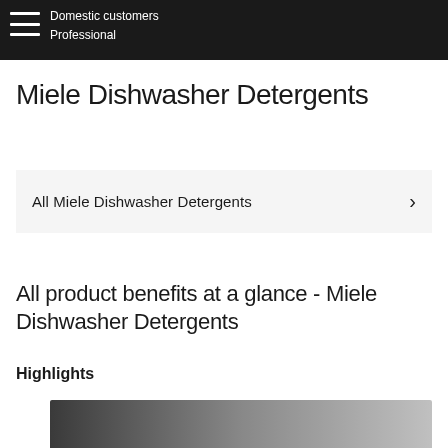Domestic customers
Professional
Miele Dishwasher Detergents
All Miele Dishwasher Detergents
All product benefits at a glance - Miele Dishwasher Detergents
Highlights
[Figure (photo): Dark gradient image at bottom of page, transitioning from dark gray/black on left to lighter gray on right]